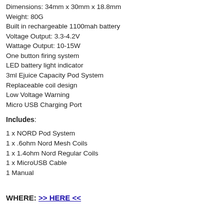Dimensions: 34mm x 30mm x 18.8mm
Weight: 80G
Built in rechargeable 1100mah battery
Voltage Output: 3.3-4.2V
Wattage Output: 10-15W
One button firing system
LED battery light indicator
3ml Ejuice Capacity Pod System
Replaceable coil design
Low Voltage Warning
Micro USB Charging Port
Includes:
1 x NORD Pod System
1 x .6ohm Nord Mesh Coils
1 x 1.4ohm Nord Regular Coils
1 x MicroUSB Cable
1 Manual
WHERE: >> HERE <<